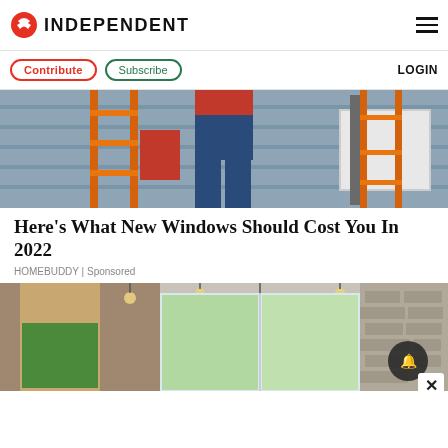INDEPENDENT
Contribute | Subscribe | LOGIN
[Figure (photo): Workers on an orange ladder installing or repairing windows on the exterior of a house with blue-grey siding]
Here's What New Windows Should Cost You In 2022
HOMEBUDDY | Sponsored
[Figure (photo): Interior of a modern home showing open plan living area with pendant lights and sliding glass doors]